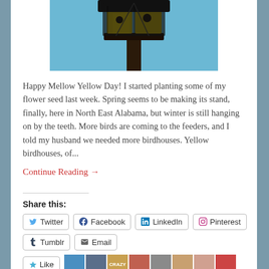[Figure (photo): Photo of yellow birdhouses mounted on a pole against a blue sky, shot from below]
Happy Mellow Yellow Day! I started planting some of my flower seed last week. Spring seems to be making its stand, finally, here in North East Alabama, but winter is still hanging on by the teeth. More birds are coming to the feeders, and I told my husband we needed more birdhouses. Yellow birdhouses, of...
Continue Reading →
Share this:
Twitter
Facebook
LinkedIn
Pinterest
Tumblr
Email
Like